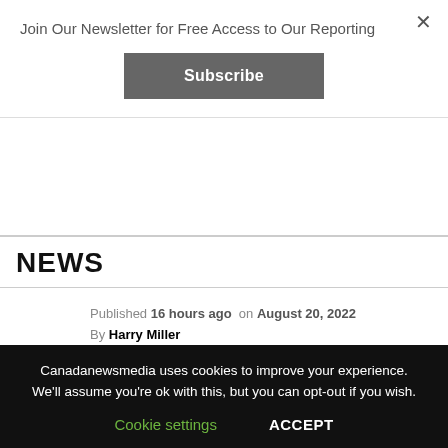Join Our Newsletter for Free Access to Our Reporting
×
Subscribe
News
Published 16 hours ago  on August 20, 2022
By Harry Miller
Canadanewsmedia uses cookies to improve your experience. We'll assume you're ok with this, but you can opt-out if you wish.
Cookie settings
ACCEPT